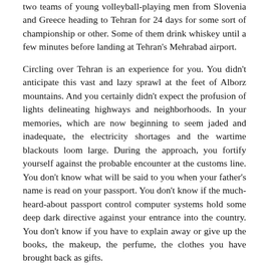two teams of young volleyball-playing men from Slovenia and Greece heading to Tehran for 24 days for some sort of championship or other. Some of them drink whiskey until a few minutes before landing at Tehran's Mehrabad airport.
Circling over Tehran is an experience for you. You didn't anticipate this vast and lazy sprawl at the feet of Alborz mountains. And you certainly didn't expect the profusion of lights delineating highways and neighborhoods. In your memories, which are now beginning to seem jaded and inadequate, the electricity shortages and the wartime blackouts loom large. During the approach, you fortify yourself against the probable encounter at the customs line. You don't know what will be said to you when your father's name is read on your passport. You don't know if the much-heard-about passport control computer systems hold some deep dark directive against your entrance into the country. You don't know if you have to explain away or give up the books, the makeup, the perfume, the clothes you have brought back as gifts.
By now, it's 3:20 a.m. Tehran time, and on top of the apprehension, you feel guilty about your uncle waiting for you out there... and from the horror stories you have heard, it could take you some time - and dollars - to get past customs. Then the plane lands and the stairs are attached, and the